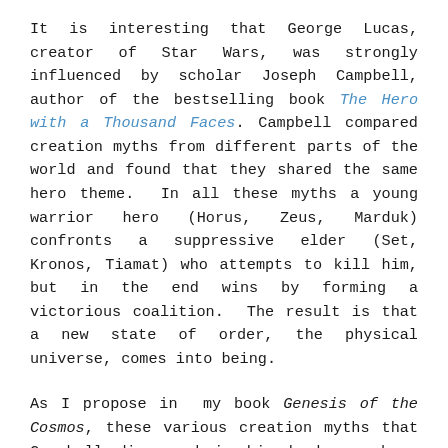It is interesting that George Lucas, creator of Star Wars, was strongly influenced by scholar Joseph Campbell, author of the bestselling book The Hero with a Thousand Faces. Campbell compared creation myths from different parts of the world and found that they shared the same hero theme.   In all these myths a young warrior hero (Horus, Zeus, Marduk) confronts a suppressive elder (Set, Kronos, Tiamat) who attempts to kill him, but in the end wins by forming a victorious coalition.  The result is that a new state of order, the physical universe, comes into being.
As I propose in  my book Genesis of the Cosmos, these various creation myths that Campbell discussed in his book encode a highly sophisticated physics, namely the science of how matter comes into being from an underlying organic ether.  The evidence suggests that an ancient civilization that created these myths once understood and used the physics of subquantum kinetics and sought to preserve it for future generations by encoding its concepts into these myths through the use of metaphor.  Since Lucas